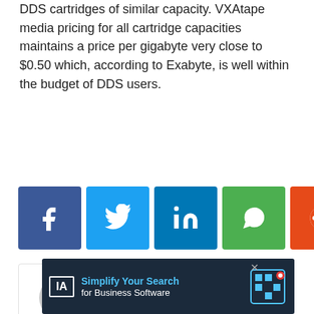DDS cartridges of similar capacity. VXAtape media pricing for all cartridge capacities maintains a price per gigabyte very close to $0.50 which, according to Exabyte, is well within the budget of DDS users.
[Figure (other): Social sharing buttons: Facebook (blue), Twitter (light blue), LinkedIn (dark blue), WhatsApp (green), Reddit (orange-red)]
[Figure (other): Author card with generic grey avatar silhouette icon and name 'InternetNews Staff' in teal]
[Figure (other): Advertisement banner: dark navy background with TA logo, text 'Simplify Your Search for Business Software' in teal and white, with maze graphic and close button]